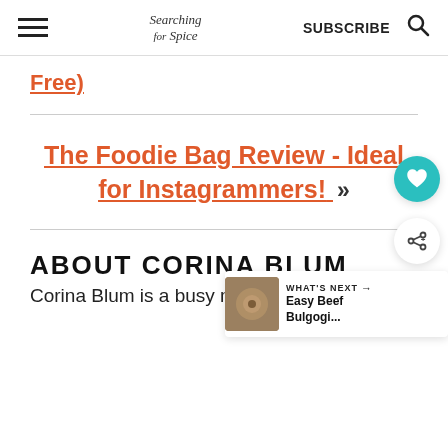Searching for Spice | SUBSCRIBE
Free)
The Foodie Bag Review - Ideal for Instagrammers! »
ABOUT CORINA BLUM
Corina Blum is a busy mum with 2